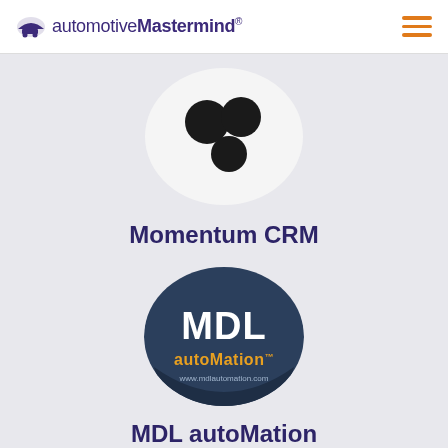automotiveMastermind®
[Figure (logo): Momentum CRM logo: white rounded square/circle with three black circles arranged in a triangle pattern]
Momentum CRM
[Figure (logo): MDL autoMation logo: dark navy circle with white MDL text and orange autoMation text and www.mdlautomation.com URL]
MDL autoMation